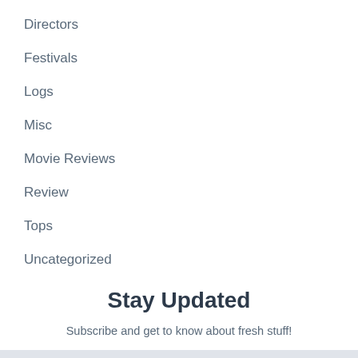Directors
Festivals
Logs
Misc
Movie Reviews
Review
Tops
Uncategorized
Stay Updated
Subscribe and get to know about fresh stuff!